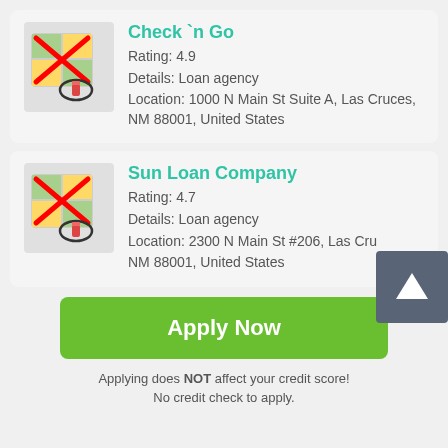[Figure (illustration): Map icon with red X overlay and location pin, Check n Go listing]
Check `n Go
Rating: 4.9
Details: Loan agency
Location: 1000 N Main St Suite A, Las Cruces, NM 88001, United States
[Figure (illustration): Map icon with red X overlay and location pin, Sun Loan Company listing]
Sun Loan Company
Rating: 4.7
Details: Loan agency
Location: 2300 N Main St #206, Las Cruces, NM 88001, United States
Apply Now
Applying does NOT affect your credit score!
No credit check to apply.